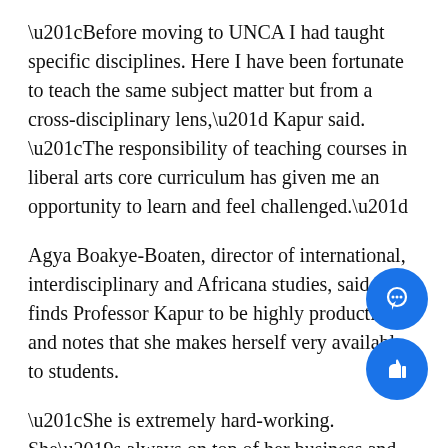“Before moving to UNCA I had taught specific disciplines. Here I have been fortunate to teach the same subject matter but from a cross-disciplinary lens,” Kapur said. “The responsibility of teaching courses in liberal arts core curriculum has given me an opportunity to learn and feel challenged.”
Agya Boakye-Boaten, director of international, interdisciplinary and Africana studies, said he finds Professor Kapur to be highly productive and notes that she makes herself very available to students.
“She is extremely hard-working. She’s always on top of her business and she’s just been a wonderful colleague to work with,” Boakye-Boeten said.
Boakye-Boaten said Kapur’s background brings a lo of intellectual variety to UNCA. The campus can’ have enough faculty members similar to Kapur as she